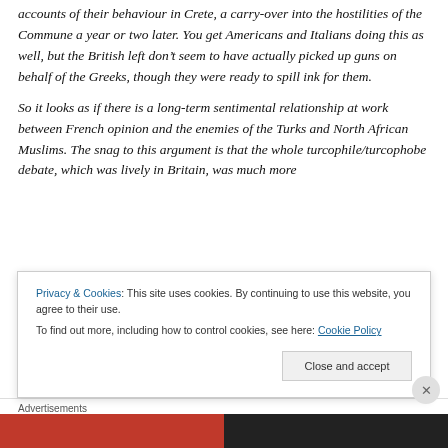accounts of their behaviour in Crete, a carry-over into the hostilities of the Commune a year or two later. You get Americans and Italians doing this as well, but the British left don't seem to have actually picked up guns on behalf of the Greeks, though they were ready to spill ink for them.
So it looks as if there is a long-term sentimental relationship at work between French opinion and the enemies of the Turks and North African Muslims. The snag to this argument is that the whole turcophile/turcophobe debate, which was lively in Britain, was much more
Privacy & Cookies: This site uses cookies. By continuing to use this website, you agree to their use.
To find out more, including how to control cookies, see here: Cookie Policy
Close and accept
Advertisements